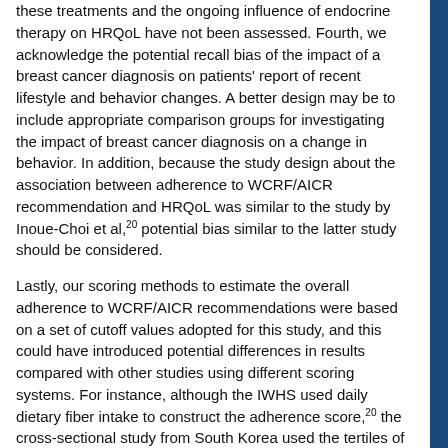these treatments and the ongoing influence of endocrine therapy on HRQoL have not been assessed. Fourth, we acknowledge the potential recall bias of the impact of a breast cancer diagnosis on patients' report of recent lifestyle and behavior changes. A better design may be to include appropriate comparison groups for investigating the impact of breast cancer diagnosis on a change in behavior. In addition, because the study design about the association between adherence to WCRF/AICR recommendation and HRQoL was similar to the study by Inoue-Choi et al,20 potential bias similar to the latter study should be considered.
Lastly, our scoring methods to estimate the overall adherence to WCRF/AICR recommendations were based on a set of cutoff values adopted for this study, and this could have introduced potential differences in results compared with other studies using different scoring systems. For instance, although the IWHS used daily dietary fiber intake to construct the adherence score,20 the cross-sectional study from South Korea used the tertiles of the whole population to construct the adherence score.38